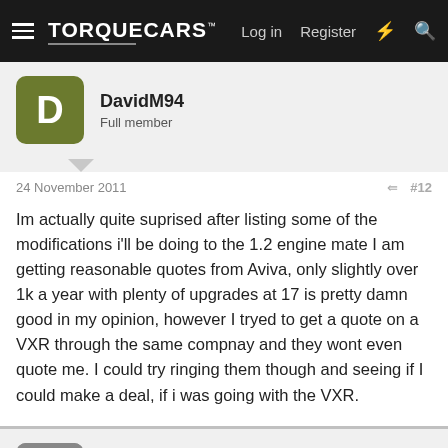TorqueCars — Log in  Register
DavidM94
Full member
24 November 2011  #12
Im actually quite suprised after listing some of the modifications i'll be doing to the 1.2 engine mate I am getting reasonable quotes from Aviva, only slightly over 1k a year with plenty of upgrades at 17 is pretty damn good in my opinion, however I tryed to get a quote on a VXR through the same compnay and they wont even quote me. I could try ringing them though and seeing if I could make a deal, if i was going with the VXR.
turbonutter69
TC ModFather  Moderator
24 November 2011  #13